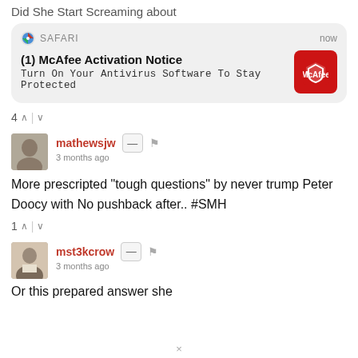Did She Start Screaming about
[Figure (screenshot): Safari browser notification card: '(1) McAfee Activation Notice' with subtitle 'Turn On Your Antivirus Software To Stay Protected' and McAfee logo icon, timestamped 'now']
4 ∧ | ∨
mathewsjw
3 months ago
More prescripted "tough questions" by never trump Peter Doocy with No pushback after.. #SMH
1 ∧ | ∨
mst3kcrow
3 months ago
Or this prepared answer she